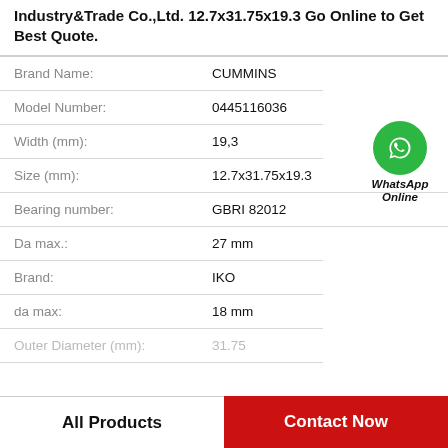Industry&Trade Co.,Ltd. 12.7x31.75x19.3 Go Online to Get Best Quote.
| Property | Value |
| --- | --- |
| Brand Name: | CUMMINS |
| Model Number: | 0445116036 |
| Width (mm): | 19,3 |
| Size (mm): | 12.7x31.75x19.3 |
| Bearing number: | GBRI 82012 |
| Da max.: | 27 mm |
| Brand: | IKO |
| da max: | 18 mm |
| Outer Diameter (mm): | 31.75 |
[Figure (logo): WhatsApp Online green circle badge with phone icon]
All Products    Contact Now